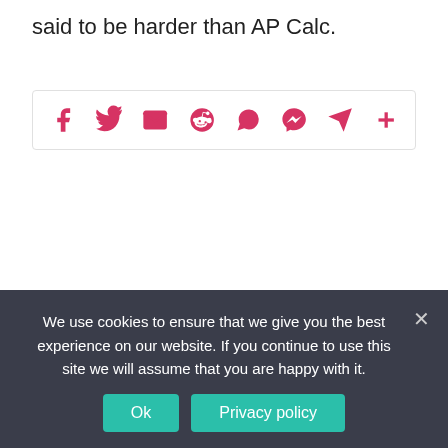said to be harder than AP Calc.
[Figure (infographic): Social media share bar with icons for Facebook, Twitter, Email, Reddit, WhatsApp, Messenger, Telegram, and a plus/more button, all in pink/crimson color]
Previous Article
Why do Roman Catholic
Next Article
What are the 3 Uses of
We use cookies to ensure that we give you the best experience on our website. If you continue to use this site we will assume that you are happy with it.
Ok   Privacy policy